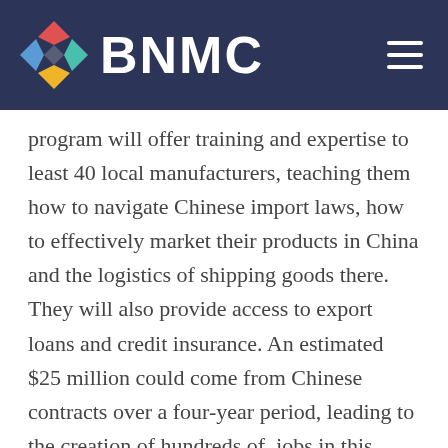BNMC
program will offer training and expertise to least 40 local manufacturers, teaching them how to navigate Chinese import laws, how to effectively market their products in China and the logistics of shipping goods there. They will also provide access to export loans and credit insurance. An estimated $25 million could come from Chinese contracts over a four-year period, leading to the creation of hundreds of jobs in this area.
At a roundtable discussion moderated by Congresswoman Kathy Hochul, New York's 26th